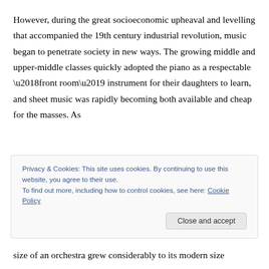However, during the great socioeconomic upheaval and levelling that accompanied the 19th century industrial revolution, music began to penetrate society in new ways. The growing middle and upper-middle classes quickly adopted the piano as a respectable ‘front room’ instrument for their daughters to learn, and sheet music was rapidly becoming both available and cheap for the masses. As
Privacy & Cookies: This site uses cookies. By continuing to use this website, you agree to their use.
To find out more, including how to control cookies, see here: Cookie Policy
[Close and accept]
size of an orchestra grew considerably to its modern size